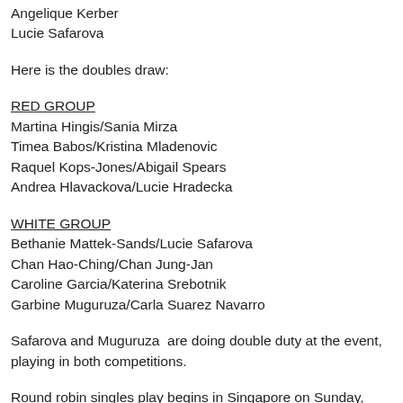Angelique Kerber
Lucie Safarova
Here is the doubles draw:
RED GROUP
Martina Hingis/Sania Mirza
Timea Babos/Kristina Mladenovic
Raquel Kops-Jones/Abigail Spears
Andrea Hlavackova/Lucie Hradecka
WHITE GROUP
Bethanie Mattek-Sands/Lucie Safarova
Chan Hao-Ching/Chan Jung-Jan
Caroline Garcia/Katerina Srebotnik
Garbine Muguruza/Carla Suarez Navarro
Safarova and Muguruza  are doing double duty at the event, playing in both competitions.
Round robin singles play begins in Singapore on Sunday, when Halep and Pennetta hit the first white group balls. The